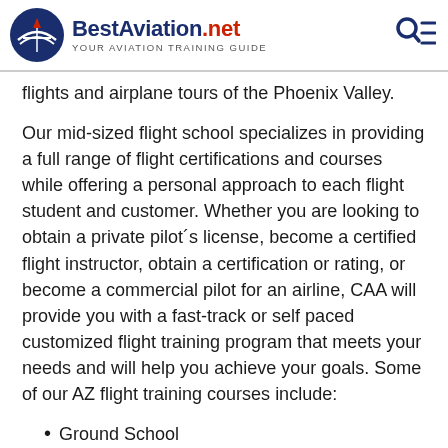BestAviation.net — YOUR AVIATION TRAINING GUIDE
flights and airplane tours of the Phoenix Valley.
Our mid-sized flight school specializes in providing a full range of flight certifications and courses while offering a personal approach to each flight student and customer. Whether you are looking to obtain a private pilot´s license, become a certified flight instructor, obtain a certification or rating, or become a commercial pilot for an airline, CAA will provide you with a fast-track or self paced customized flight training program that meets your needs and will help you achieve your goals. Some of our AZ flight training courses include:
Ground School
Private Pilot Training
Commercial Pilot Training
CFI & CFII Certification (partial)